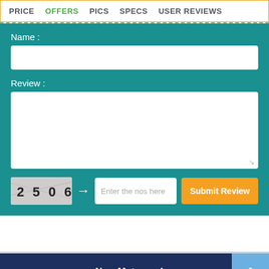PRICE  OFFERS  PICS  SPECS  USER REVIEWS
Name :
Review :
[Figure (other): CAPTCHA image showing numbers 2506]
Enter the nos here
Submit Review
New Motorcycles